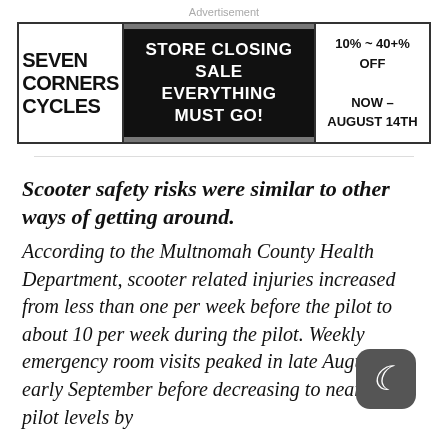Advertisement
[Figure (photo): Seven Corners Cycles store closing sale advertisement banner. Left panel: 'SEVEN CORNERS CYCLES' in bold black text on white background. Center panel: dark background with bicycle image and text 'STORE CLOSING SALE EVERYTHING MUST GO!' in white bold uppercase. Right panel: '10% ~ 40+% OFF NOW – AUGUST 14TH' on white background.]
Scooter safety risks were similar to other ways of getting around.
According to the Multnomah County Health Department, scooter related injuries increased from less than one per week before the pilot to about 10 per week during the pilot. Weekly emergency room visits peaked in late August and early September before decreasing to near pre-pilot levels by